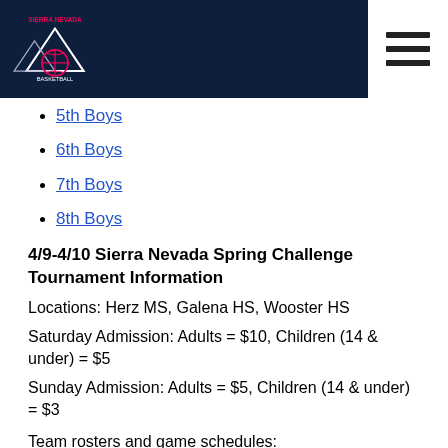Sierra Nevada Basketball
5th Boys
6th Boys
7th Boys
8th Boys
4/9-4/10 Sierra Nevada Spring Challenge Tournament Information
Locations: Herz MS, Galena HS, Wooster HS
Saturday Admission: Adults = $10, Children (14 & under) = $5
Sunday Admission: Adults = $5, Children (14 & under) = $3
Team rosters and game schedules:
4th Grade
5th grade